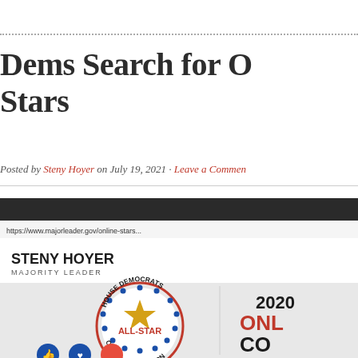Dems Search for Online Stars
Posted by Steny Hoyer on July 19, 2021 · Leave a Comment
[Figure (screenshot): Screenshot of a webpage showing 'Steny Hoyer Majority Leader' website, with a House Democrats All-Star Online Competition badge (gold star, red and blue circular border) and text reading '2020 ONLINE CO...' with social media reaction icons at the bottom]